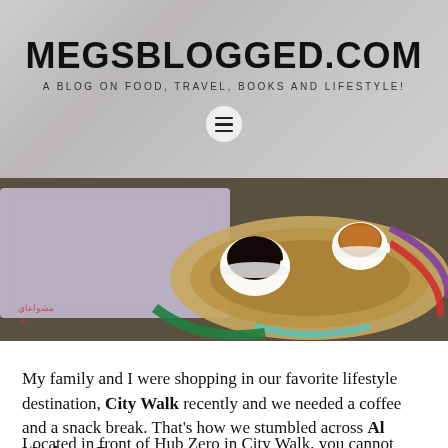MEGSBLOGGED.COM
A BLOG ON FOOD, TRAVEL, BOOKS AND LIFESTYLE!
[Figure (photo): Top-down photo of two small white cups of coffee/tea on a woven basket tray with colorful (green, teal, red, purple) border, with a purple checkered cloth, on a dark wooden surface. Arabic text visible on bottom left.]
My family and I were shopping in our favorite lifestyle destination, City Walk recently and we needed a coffee and a snack break. That's how we stumbled across Al Mashowa Restaurant.
Located in front of Hub Zero in City Walk, you cannot